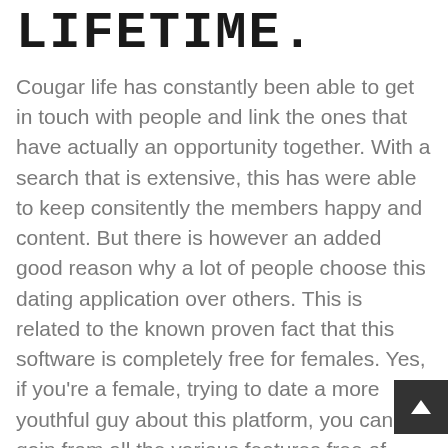LIFETIME.
Cougar life has constantly been able to get in touch with people and link the ones that have actually an opportunity together. With a search that is extensive, this has were able to keep consitently the members happy and content. But there is however an added good reason why a lot of people choose this dating application over others. This is related to the known proven fact that this software is completely free for females. Yes, if you’re a female, trying to date a more youthful guy about this platform, you can gain from all the various features free of charge whatsoever! Having said that, if you should be a person seeking to date a cougar, you’ll be able to have the features free for a limitation on...